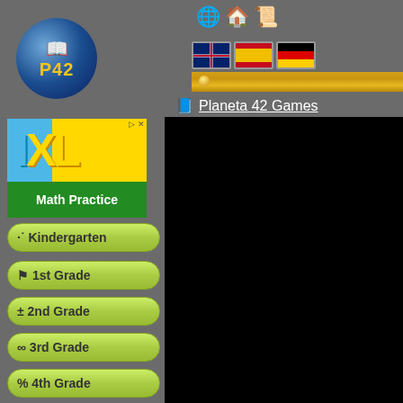[Figure (logo): P42 logo - blue globe with open book and P42 text in gold]
[Figure (screenshot): Top navigation icons: globe, house, scroll]
[Figure (screenshot): Language flag buttons: UK/English, Spain/Spanish, Germany/German]
[Figure (screenshot): Gold navigation bar with circle dot]
Planeta 42 Games
[Figure (photo): IXL Math Practice advertisement banner]
Kindergarten
1st Grade
2nd Grade
3rd Grade
4th Grade
5th Grade
6th Grade
7th Grade
[Figure (screenshot): Black content/game area]